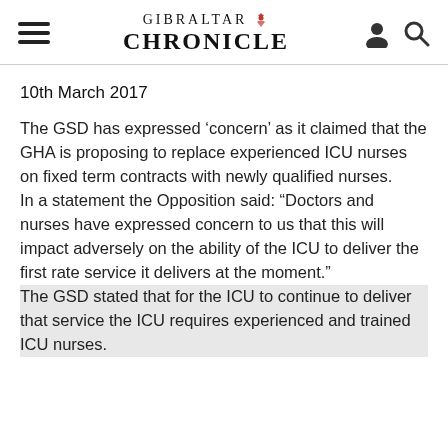Gibraltar Chronicle
10th March 2017
The GSD has expressed ‘concern’ as it claimed that the GHA is proposing to replace experienced ICU nurses on fixed term contracts with newly qualified nurses. In a statement the Opposition said: “Doctors and nurses have expressed concern to us that this will impact adversely on the ability of the ICU to deliver the first rate service it delivers at the moment.” The GSD stated that for the ICU to continue to deliver that service the ICU requires experienced and trained ICU nurses.